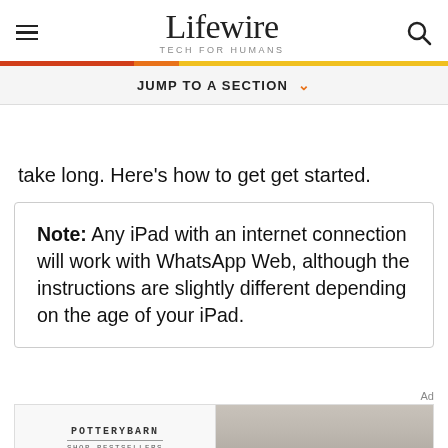Lifewire — TECH FOR HUMANS
take long. Here's how to get get started.
Note: Any iPad with an internet connection will work with WhatsApp Web, although the instructions are slightly different depending on the age of your iPad.
[Figure (screenshot): Pottery Barn advertisement banner with logo and shop bestsellers text, alongside a sofa product image]